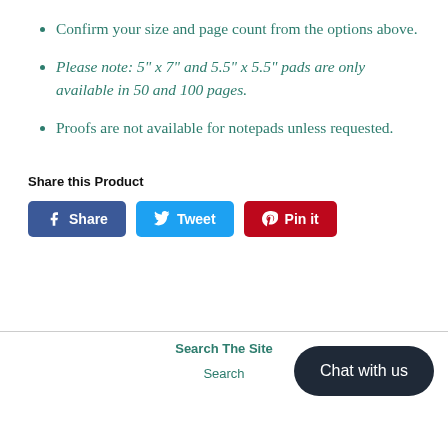Confirm your size and page count from the options above.
Please note: 5" x 7" and 5.5" x 5.5" pads are only available in 50 and 100 pages.
Proofs are not available for notepads unless requested.
Share this Product
Share Tweet Pin it
Search The Site
Search
Chat with us